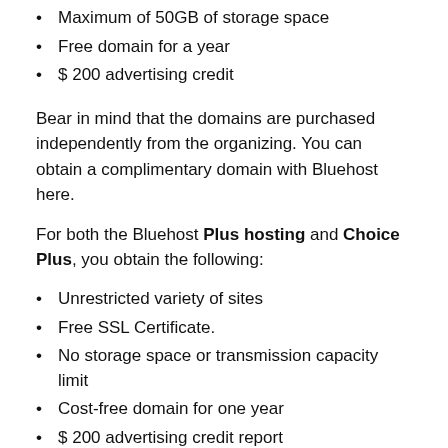Maximum of 50GB of storage space
Free domain for a year
$ 200 advertising credit
Bear in mind that the domains are purchased independently from the organizing. You can obtain a complimentary domain with Bluehost here.
For both the Bluehost Plus hosting and Choice Plus, you obtain the following:
Unrestricted variety of sites
Free SSL Certificate.
No storage space or transmission capacity limit
Cost-free domain for one year
$ 200 advertising credit report
1 Office 365 Mailbox that is cost-free for 1 month
The Choice Plus strategy has actually an added advantage of